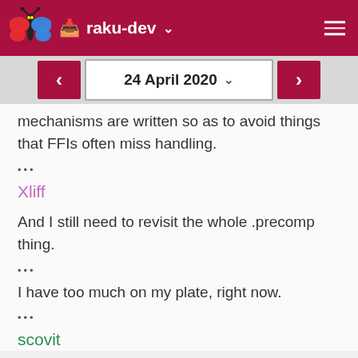raku-dev
24 April 2020
mechanisms are written so as to avoid things that FFIs often miss handling.
•••
Xliff
And I still need to revisit the whole .precomp thing.
•••
I have too much on my plate, right now.
•••
scovit